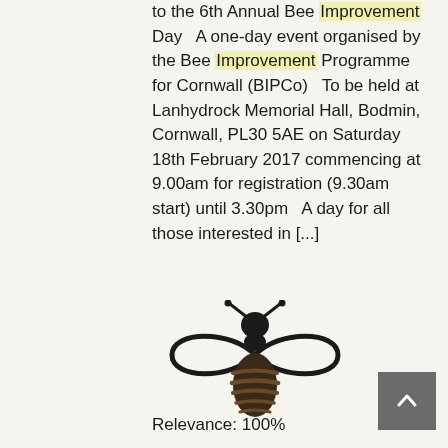to the 6th Annual Bee Improvement Day   A one-day event organised by the Bee Improvement Programme for Cornwall (BIPCo)   To be held at Lanhydrock Memorial Hall, Bodmin, Cornwall, PL30 5AE on Saturday 18th February 2017 commencing at 9.00am for registration (9.30am start) until 3.30pm   A day for all those interested in [...]
Read more »
[Figure (logo): Stylized bee logo with infinity-symbol wings and striped abdomen]
Relevance: 100%